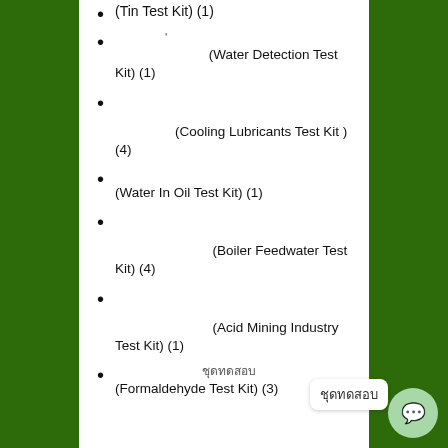(Tin Test Kit) (1)
(Water Detection Test Kit) (1)
(Cooling Lubricants Test Kit ) (4)
(Water In Oil Test Kit) (1)
(Boiler Feedwater Test Kit) (4)
(Acid Mining Industry Test Kit) (1)
(Formaldehyde Test Kit) (3)